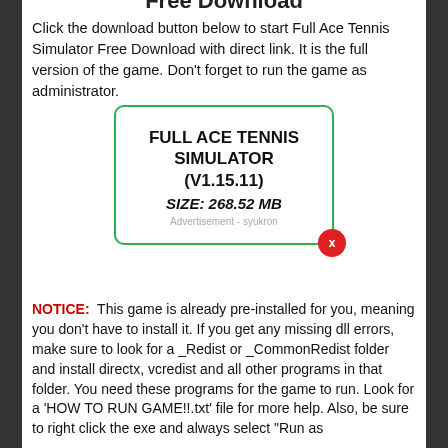Free Download
Click the download button below to start Full Ace Tennis Simulator Free Download with direct link. It is the full version of the game. Don't forget to run the game as administrator.
[Figure (other): Download box with green border containing title 'FULL ACE TENNIS SIMULATOR (V1.15.11)', size 'SIZE: 268.52 MB', advertisement label 'Advertisement - syukron', and a red close button with 'x']
NOTICE:  This game is already pre-installed for you, meaning you don't have to install it. If you get any missing dll errors, make sure to look for a _Redist or _CommonRedist folder and install directx, vcredist and all other programs in that folder. You need these programs for the game to run. Look for a 'HOW TO RUN GAME!!.txt' file for more help. Also, be sure to right click the exe and always select "Run as